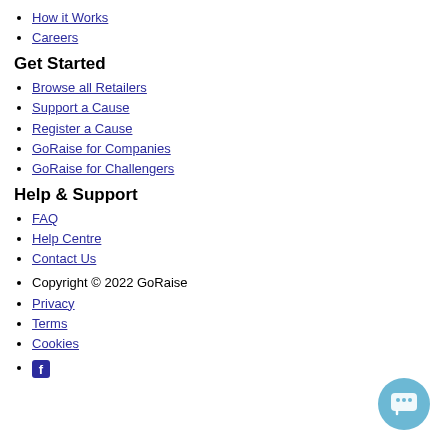How it Works
Careers
Get Started
Browse all Retailers
Support a Cause
Register a Cause
GoRaise for Companies
GoRaise for Challengers
Help & Support
FAQ
Help Centre
Contact Us
Copyright © 2022 GoRaise
Privacy
Terms
Cookies
[Facebook icon]